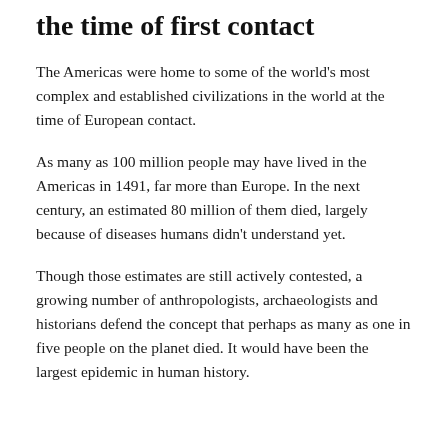the time of first contact
The Americas were home to some of the world's most complex and established civilizations in the world at the time of European contact.
As many as 100 million people may have lived in the Americas in 1491, far more than Europe. In the next century, an estimated 80 million of them died, largely because of diseases humans didn't understand yet.
Though those estimates are still actively contested, a growing number of anthropologists, archaeologists and historians defend the concept that perhaps as many as one in five people on the planet died. It would have been the largest epidemic in human history.